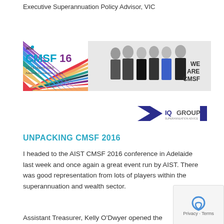Executive Superannuation Policy Advisor, VIC
[Figure (photo): AIST CMSF16 conference banner showing logo, date 16-18 March 2016, Adelaide Convention Centre, group photo of 6 professionals, and text WE ARE CMSF]
[Figure (logo): IQ Group logo with blue triangle/chevron shapes and text IQGROUP]
UNPACKING CMSF 2016
I headed to the AIST CMSF 2016 conference in Adelaide last week and once again a great event run by AIST. There was good representation from lots of players within the superannuation and wealth sector.
Assistant Treasurer, Kelly O'Dwyer opened the